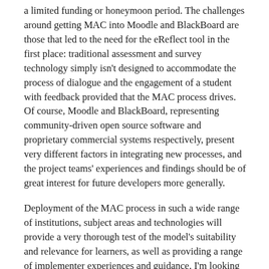a limited funding or honeymoon period. The challenges around getting MAC into Moodle and BlackBoard are those that led to the need for the eReflect tool in the first place: traditional assessment and survey technology simply isn't designed to accommodate the process of dialogue and the engagement of a student with feedback provided that the MAC process drives. Of course, Moodle and BlackBoard, representing community-driven open source software and proprietary commercial systems respectively, present very different factors in integrating new processes, and the project teams' experiences and findings should be of great interest for future developers more generally.
Deployment of the MAC process in such a wide range of institutions, subject areas and technologies will provide a very thorough test of the model's suitability and relevance for learners, as well as providing a range of implementer experiences and guidance. I'm looking